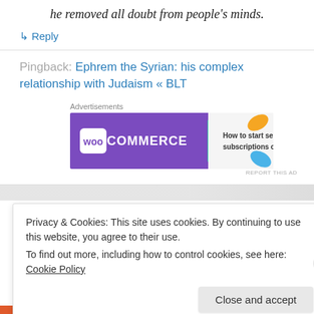he removed all doubt from people's minds.
↳ Reply
Pingback: Ephrem the Syrian: his complex relationship with Judaism « BLT
[Figure (other): WooCommerce advertisement banner: purple background with WooCommerce logo, teal arrow shape, text 'How to start selling subscriptions online', orange and blue leaf decorations]
Privacy & Cookies: This site uses cookies. By continuing to use this website, you agree to their use. To find out more, including how to control cookies, see here: Cookie Policy
Close and accept